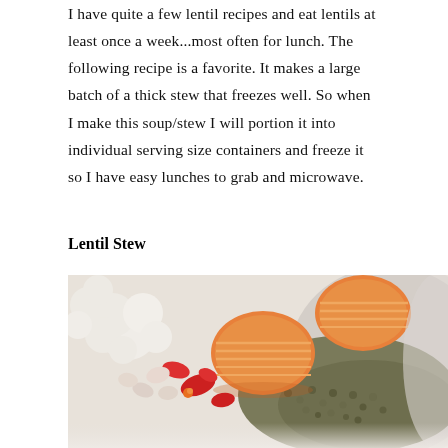I have quite a few lentil recipes and eat lentils at least once a week...most often for lunch. The following recipe is a favorite. It makes a large batch of a thick stew that freezes well. So when I make this soup/stew I will portion it into individual serving size containers and freeze it so I have easy lunches to grab and microwave.
Lentil Stew
[Figure (photo): Close-up photograph of lentil stew in a white bowl, showing crinkle-cut carrots, red peppers, cauliflower, and lentils.]